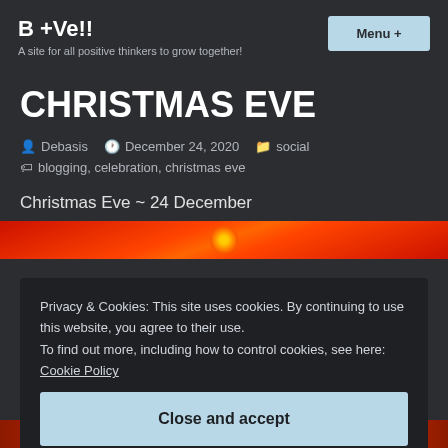B +Ve!! — A site for all positive thinkers to grow together!
CHRISTMAS EVE
Debasis  December 24, 2020  social
blogging, celebration, christmas eve
Christmas Eve ~ 24 December
[Figure (photo): Red gradient image strip with orange sun/circle element — Christmas themed]
Privacy & Cookies: This site uses cookies. By continuing to use this website, you agree to their use.
To find out more, including how to control cookies, see here: Cookie Policy
Close and accept
[Figure (photo): Red and gold Christmas ornament image strip at the bottom]